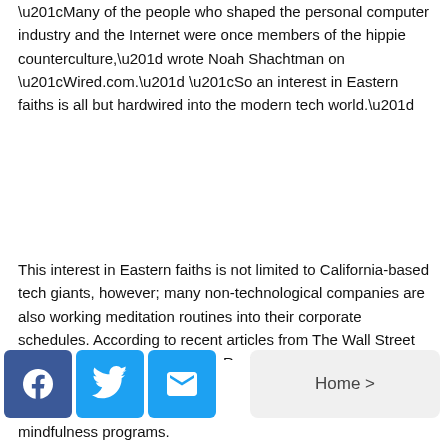“Many of the people who shaped the personal computer industry and the Internet were once members of the hippie counterculture,” wrote Noah Shachtman on “Wired.com.” “So an interest in Eastern faiths is all but hardwired into the modern tech world.”
This interest in Eastern faiths is not limited to California-based tech giants, however; many non-technological companies are also working meditation routines into their corporate schedules. According to recent articles from The Wall Street Journal and Harvard Business Review, General Mills, Target, Bank of America, and Goldman
mindfulness programs.